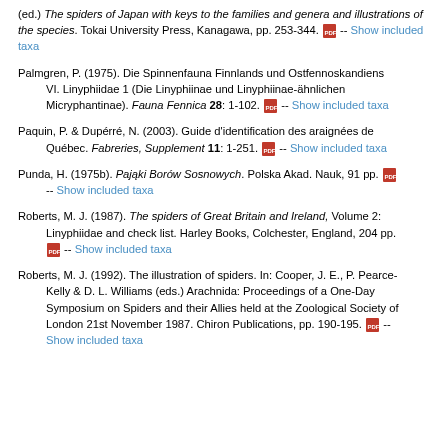(ed.) The spiders of Japan with keys to the families and genera and illustrations of the species. Tokai University Press, Kanagawa, pp. 253-344. [PDF] -- Show included taxa
Palmgren, P. (1975). Die Spinnenfauna Finnlands und Ostfennoskandiens VI. Linyphiidae 1 (Die Linyphiinae und Linyphiinae-ähnlichen Micryphantinae). Fauna Fennica 28: 1-102. [PDF] -- Show included taxa
Paquin, P. & Dupérré, N. (2003). Guide d'identification des araignées de Québec. Fabreries, Supplement 11: 1-251. [PDF] -- Show included taxa
Punda, H. (1975b). Pająki Borów Sosnowych. Polska Akad. Nauk, 91 pp. [PDF] -- Show included taxa
Roberts, M. J. (1987). The spiders of Great Britain and Ireland, Volume 2: Linyphiidae and check list. Harley Books, Colchester, England, 204 pp. [PDF] -- Show included taxa
Roberts, M. J. (1992). The illustration of spiders. In: Cooper, J. E., P. Pearce-Kelly & D. L. Williams (eds.) Arachnida: Proceedings of a One-Day Symposium on Spiders and their Allies held at the Zoological Society of London 21st November 1987. Chiron Publications, pp. 190-195. [PDF] -- Show included taxa